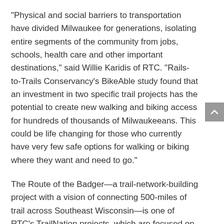“Physical and social barriers to transportation have divided Milwaukee for generations, isolating entire segments of the community from jobs, schools, health care and other important destinations,” said Willie Karidis of RTC. “Rails-to-Trails Conservancy’s BikeAble study found that an investment in two specific trail projects has the potential to create new walking and biking access for hundreds of thousands of Milwaukeeans. This could be life changing for those who currently have very few safe options for walking or biking where they want and need to go.”
The Route of the Badger—a trail-network-building project with a vision of connecting 500-miles of trail across Southeast Wisconsin—is one of RTC’s TrailNation projects, which are focused on catalyzing the development of trail networks nationwide, creating healthier places for healthier people.